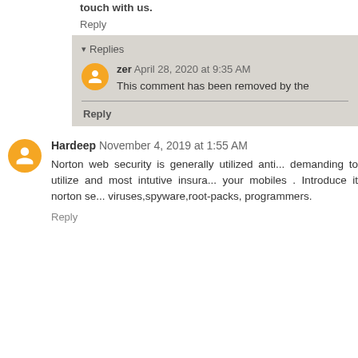touch with us.
Reply
▾ Replies
zer April 28, 2020 at 9:35 AM
This comment has been removed by the
Reply
Hardeep November 4, 2019 at 1:55 AM
Norton web security is generally utilized anti... demanding to utilize and most intutive insura... your mobiles . Introduce it norton se... viruses,spyware,root-packs, programmers.
Reply